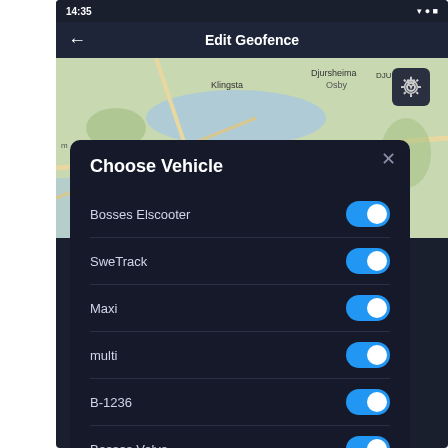[Figure (screenshot): Mobile app screenshot showing 'Edit Geofence' screen with a map view in the background and a 'Choose Vehicle' modal panel overlaid. The modal lists seven vehicles (Bosses Elscooter, SweTrack, Maxi, multi, B-1236, Bosses Volvo, Bosses Traktor), each with a blue toggle switch in the ON position. A gear/settings icon appears in the top-right of the map.]